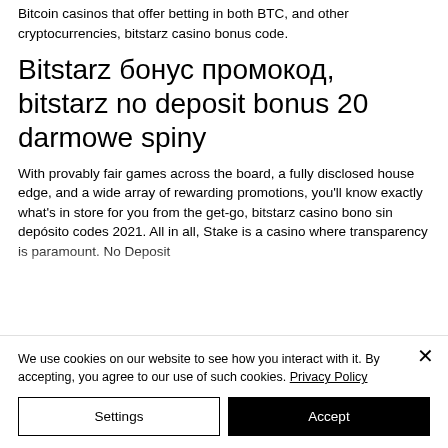Bitcoin casinos that offer betting in both BTC, and other cryptocurrencies, bitstarz casino bonus code.
Bitstarz бонус промокод, bitstarz no deposit bonus 20 darmowe spiny
With provably fair games across the board, a fully disclosed house edge, and a wide array of rewarding promotions, you'll know exactly what's in store for you from the get-go, bitstarz casino bono sin depósito codes 2021. All in all, Stake is a casino where transparency is paramount. No Deposit
We use cookies on our website to see how you interact with it. By accepting, you agree to our use of such cookies. Privacy Policy
Settings
Accept